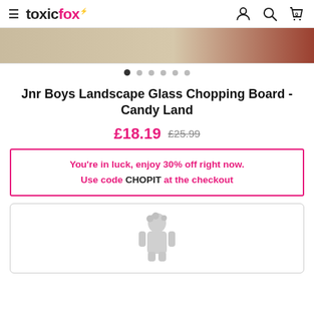toxicfox
[Figure (photo): Partial product image showing a wooden/light-colored surface with a red object at top right corner]
Slide indicator dots (6 dots, first active)
Jnr Boys Landscape Glass Chopping Board - Candy Land
£18.19  £25.99
You're in luck, enjoy 30% off right now. Use code CHOPIT at the checkout
[Figure (illustration): Personalization preview box with a grey child silhouette/avatar placeholder]